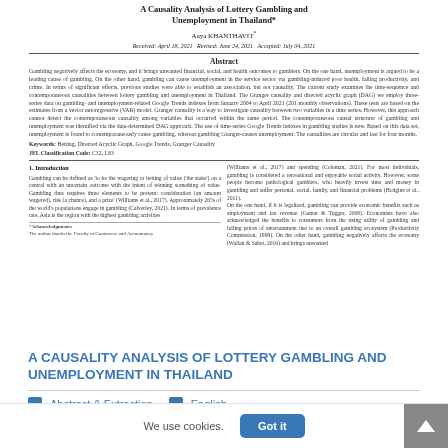A Causality Analysis of Lottery Gambling and Unemployment in Thailand*
Aaya KHANTHAVIT*
Received: April 18, 2021   Revised: June 24, 2021   Accepted: July 04, 2021
Abstract
Gambling negatively affects the economy, and it brings unwanted financial, social, and health outcomes to gamblers. On the one hand, unemployment is argued to be a leading cause of gambling. On the other hand, gambling can cause unemployment in the service sector via gambling-induced poor health, falling productivity, and crime. In terms of significant effects, previous studies were able to establish an association, but not causality. The current study examines the time-sequence and contemporaneous causalities between lottery gambling and unemployment in Thailand. The Granger causality and directed acyclic graph (DAG) we employ three-series data on gambling- and unemployment-related Google Trends indexes from January 2004 to April 2021 (201 monthly observations). These tests are based on the estimates from a vector autoregressive (VAR) model. Granger causality is a way to investigate causality between two variables in a time series. However, this approach cannot detect the contemporaneous causality among variables that occurred within the same period. The contemporaneous causal structure of gambling and unemployment was identified via the data-determined DAG approach. The use of time-series Google Trends indexes in gambling studies is new. Based on this data set, unemployment is found to contemporaneously cause gambling, whereas gambling Granger-causes unemployment. The causalities are circular and last for four months.
Keywords: Betting, Directed Acyclic Graph, Google Trends, Granger Causality
JEL Classification Code: C32, L83
1. Introduction
Gambling can be defined as 'to be the wagering or betting of value ('the stake') on a central with an uncertain outcome with the intent of winning something of value. Gambling thus requires three elements to be present: consideration (an amount wagered), risk (a chance), and a prize' (Williams et al., 2017). Approximately 26% of the world's populations engage in gambling (Calverley, 2021). In terms of prevalence rate, Asia is the region with the highest gambling activities
(Williams et al., 2017) and spending (Coleman, 2021). For most individuals, gambling is considered a recreational and enjoyable social activity. However, some people become pathological gamblers, who heavily invest time and money in gambling and suffer personal, social, family, and financial problems (Hodgins et al., 2011). On the one hand, if it is legalized, gambling can provide economic benefits such as employment and tax revenue (Gamat & Tugger, 2009). Economists have also acknowledged the benefits to consumers from the rising utility of gambling and falling prices of entertainment due to an overall gambling ecosystem (Productivity Commission, 1999). On the other hand, gambling negatively affects the economy (Wallan & Sabet, 2016) and brings unwanted
*Acknowledgments:
The author thanks the Faculty of Commerce and Accountancy
A CAUSALITY ANALYSIS OF LOTTERY GAMBLING AND UNEMPLOYMENT IN THAILAND
We use cookies.   Got it